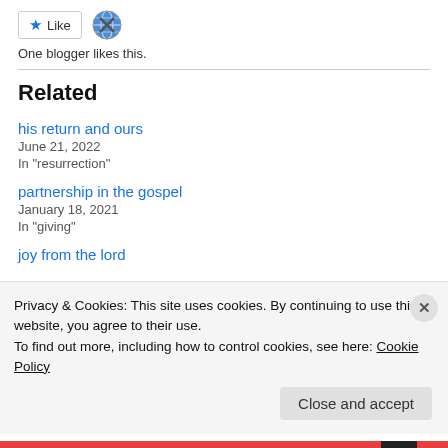[Figure (other): Like button with blue star icon and a globe/network avatar icon]
One blogger likes this.
Related
his return and ours
June 21, 2022
In “resurrection”
partnership in the gospel
January 18, 2021
In “giving”
joy from the lord
Privacy & Cookies: This site uses cookies. By continuing to use this website, you agree to their use.
To find out more, including how to control cookies, see here: Cookie Policy